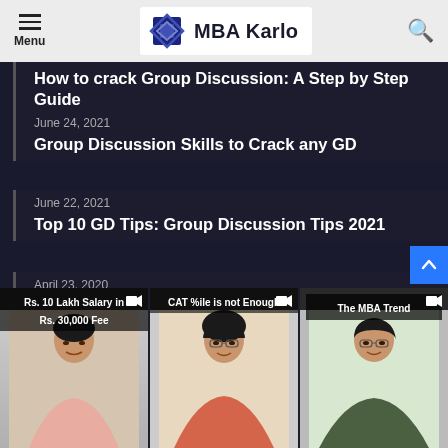MBA Karlo — Menu | Search
How to crack Group Discussion: A Step by Step Guide
June 24, 2021 — Group Discussion Skills to Crack any GD
June 22, 2021 — Top 10 GD Tips: Group Discussion Tips 2021
April 23, 2020 — 25 tips to crack Group Discussion
[Figure (screenshot): Three video thumbnails at bottom: 'Rs. 10 Lakh Salary in Rs. 30,000 Fee', 'CAT %ile is not Enough', 'The MBA Trend' — each with a woman presenter]